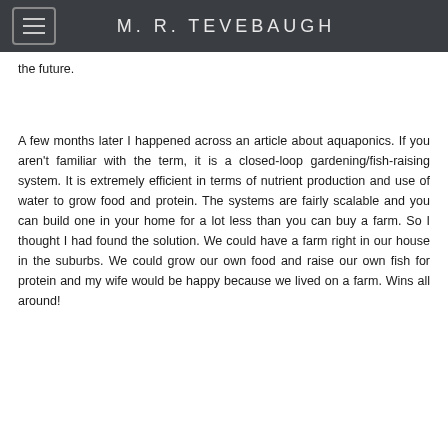M. R. TEVEBAUGH
the future.
A few months later I happened across an article about aquaponics. If you aren't familiar with the term, it is a closed-loop gardening/fish-raising system. It is extremely efficient in terms of nutrient production and use of water to grow food and protein. The systems are fairly scalable and you can build one in your home for a lot less than you can buy a farm. So I thought I had found the solution. We could have a farm right in our house in the suburbs. We could grow our own food and raise our own fish for protein and my wife would be happy because we lived on a farm. Wins all around!